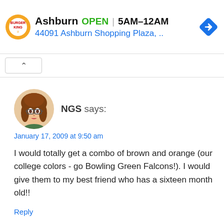[Figure (screenshot): Burger King advertisement banner showing location in Ashburn, OPEN 5AM-12AM, address 44091 Ashburn Shopping Plaza, with navigation icon]
[Figure (other): Expand/collapse chevron button bar]
[Figure (illustration): Cartoon avatar of a woman with brown hair and glasses]
NGS says:
January 17, 2009 at 9:50 am
I would totally get a combo of brown and orange (our college colors - go Bowling Green Falcons!). I would give them to my best friend who has a sixteen month old!!
Reply